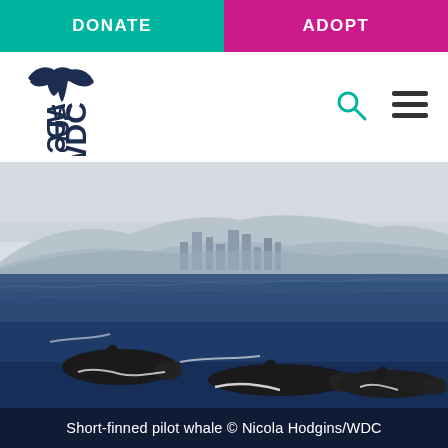DONATE | ADOPT
[Figure (logo): WDC whale and dolphin conservation logo with whale tail icon and WDC text rotated vertically]
[Figure (photo): Short-finned pilot whales swimming in blue ocean water with a mountainous coastal city in the background, likely Tenerife. Three pilot whales visible at the surface.]
Short-finned pilot whale © Nicola Hodgins/WDC